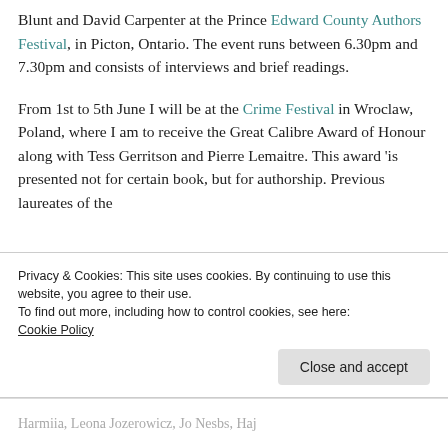Blunt and David Carpenter at the Prince Edward County Authors Festival, in Picton, Ontario. The event runs between 6.30pm and 7.30pm and consists of interviews and brief readings.
From 1st to 5th June I will be at the Crime Festival in Wroclaw, Poland, where I am to receive the Great Calibre Award of Honour along with Tess Gerritson and Pierre Lemaitre. This award 'is presented not for certain book, but for authorship. Previous laureates of the
Privacy & Cookies: This site uses cookies. By continuing to use this website, you agree to their use.
To find out more, including how to control cookies, see here:
Cookie Policy
Close and accept
Harmiia, Leona Jozerowicz, Jo Nesbs, Haj